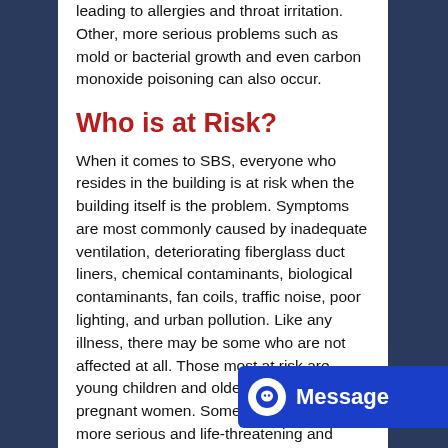leading to allergies and throat irritation. Other, more serious problems such as mold or bacterial growth and even carbon monoxide poisoning can also occur.
Who is at Risk?
When it comes to SBS, everyone who resides in the building is at risk when the building itself is the problem. Symptoms are most commonly caused by inadequate ventilation, deteriorating fiberglass duct liners, chemical contaminants, biological contaminants, fan coils, traffic noise, poor lighting, and urban pollution. Like any illness, there may be some who are not affected at all. Those most at risk are young children and older adults as well as pregnant women. Some conditions are more serious and life-threatening and should be reported to the doctor